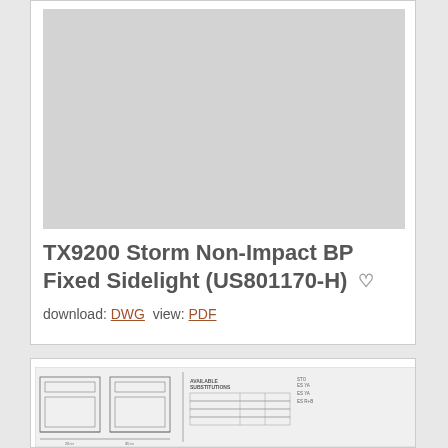[Figure (other): Gray placeholder image rectangle for product drawing preview]
TX9200 Storm Non-Impact BP Fixed Sidelight (US801170-H)
download: DWG  view: PDF
[Figure (engineering-diagram): Technical blueprint drawing of a door/window sidelight product with dimensions and available substitutions table, partially visible at bottom of page]